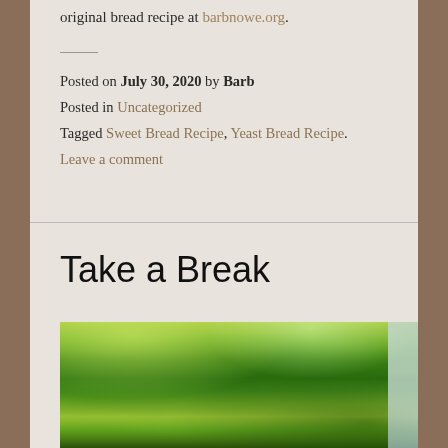original bread recipe at barbnowe.org.
Posted on July 30, 2020 by Barb
Posted in Uncategorized
Tagged Sweet Bread Recipe, Yeast Bread Recipe.
Leave a comment
Take a Break
[Figure (photo): Photograph of lush green tree canopy viewed from below, with bright sunlight filtering through leaves. Dense green foliage fills the frame with some sky visible in the upper right corner.]